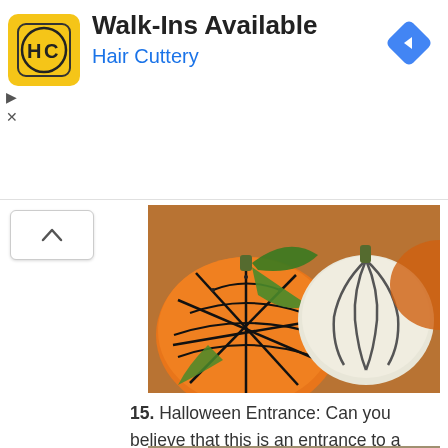[Figure (screenshot): Hair Cuttery advertisement banner with logo, 'Walk-Ins Available' heading, 'Hair Cuttery' subtitle in blue, and a blue navigation diamond icon top right]
[Figure (photo): Decorated Halloween pumpkins — an orange pumpkin with black glitter spider web design and a white pumpkin with black stripe design, with green leaves in background]
15. Halloween Entrance: Can you believe that this is an entrance to a home? Check out how to add angry eyes and a mouthful of sharp teeth to your front door! via
[Figure (photo): A front door decorated with large cardboard angry eyes (blue-white with green irises) and brown cardboard arch framing, making it look like a monster face]